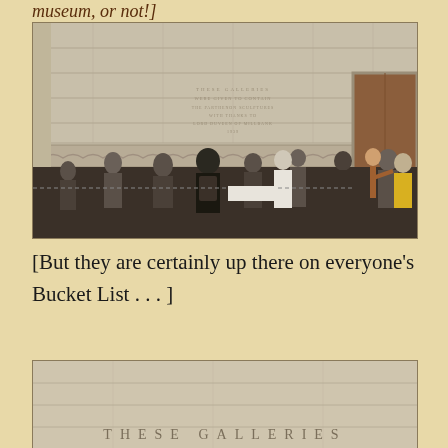museum, or not!]
[Figure (photo): Interior of the British Museum showing a large stone wall with an inscription and a frieze of carved figures near the bottom. A crowd of visitors stands looking at the exhibits. A wooden door is visible on the right side.]
[But they are certainly up there on everyone's Bucket List . . . ]
[Figure (photo): Close-up of the stone wall at the British Museum showing the beginning of the text 'THESE GALLERIES' engraved in capital letters on the stone surface.]